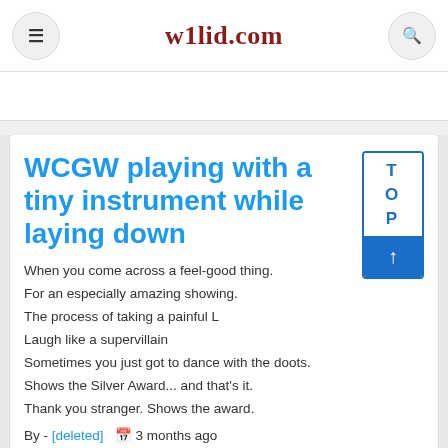w1lid.com
WCGW playing with a tiny instrument while laying down
When you come across a feel-good thing.
For an especially amazing showing.
The process of taking a painful L
Laugh like a supervillain
Sometimes you just got to dance with the doots.
Shows the Silver Award... and that's it.
Thank you stranger. Shows the award.
By - [deleted]   3 months ago